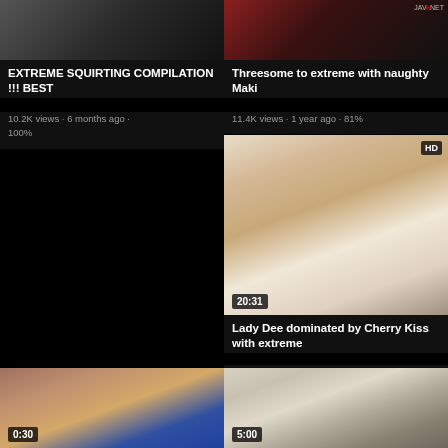[Figure (screenshot): Video thumbnail top-left, partially cropped at top]
EXTREME SQUIRTING COMPILATION !!! BEST
10.2K views • 6 months ago • 100%
[Figure (screenshot): Video thumbnail top-right with site badge]
Threesome to extreme with naughty Maki
11.4K views • 1 year ago • 81%
[Figure (screenshot): Video thumbnail HD badge, duration 20:31]
Lady Dee dominated by Cherry Kiss with extreme
10.6K views • 11 months ago • 92%
[Figure (screenshot): Video thumbnail bottom-left, duration 0:30]
[Figure (screenshot): Video thumbnail bottom-right, duration 5:00]